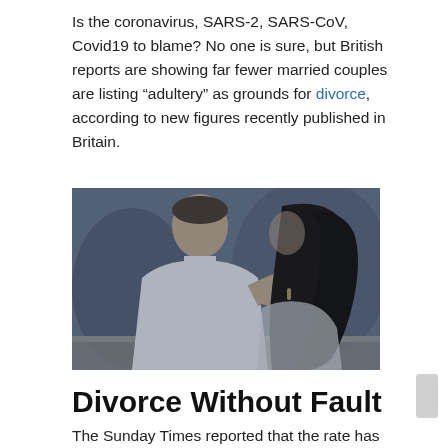Is the coronavirus, SARS-2, SARS-CoV, Covid19 to blame? No one is sure, but British reports are showing far fewer married couples are listing “adultery” as grounds for divorce, according to new figures recently published in Britain.
[Figure (photo): A black and white (with blue tint) photograph of a couple seen from behind, with a man in a white t-shirt and a woman with long dark hair leaning against him.]
Divorce Without Fault
The Sunday Times reported that the rate has dropped by more than half in a decade. According to the Office for